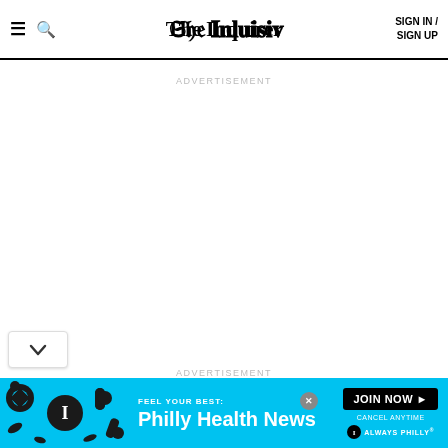The Inquirer — SIGN IN / SIGN UP
ADVERTISEMENT
ADVERTISEMENT
[Figure (infographic): Philly Health News advertisement banner with cyan background, pill graphics on left, JOIN NOW button, and Always Philly branding.]